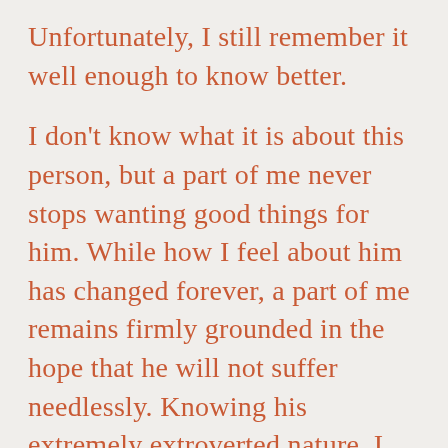Unfortunately, I still remember it well enough to know better.

I don't know what it is about this person, but a part of me never stops wanting good things for him. While how I feel about him has changed forever, a part of me remains firmly grounded in the hope that he will not suffer needlessly. Knowing his extremely extroverted nature, I obliged him by visiting his new house a few times while he was moving in and here or there when I can handle it. I have no desire to be there, but the thought of him being alone and sad